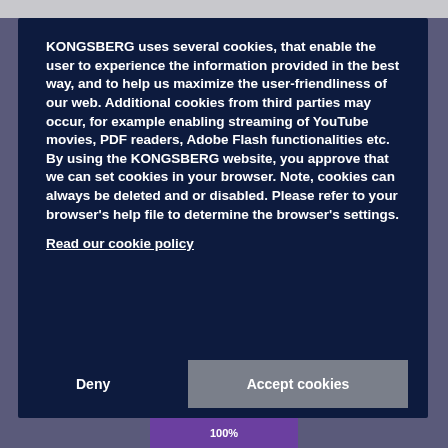KONGSBERG uses several cookies, that enable the user to experience the information provided in the best way, and to help us maximize the user-friendliness of our web. Additional cookies from third parties may occur, for example enabling streaming of YouTube movies, PDF readers, Adobe Flash functionalities etc. By using the KONGSBERG website, you approve that we can set cookies in your browser. Note, cookies can always be deleted and or disabled. Please refer to your browser's help file to determine the browser's settings.
Read our cookie policy
Deny
Accept cookies
100%